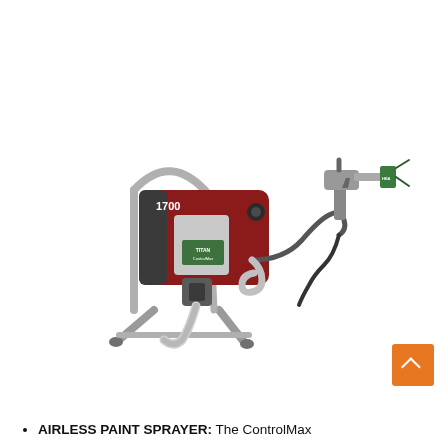[Figure (photo): Titan ControlMax 1700 airless paint sprayer with red and black housing, metal stand with four legs, flexible hose, and spray gun with green HEA tip attached]
AIRLESS PAINT SPRAYER: The ControlMax